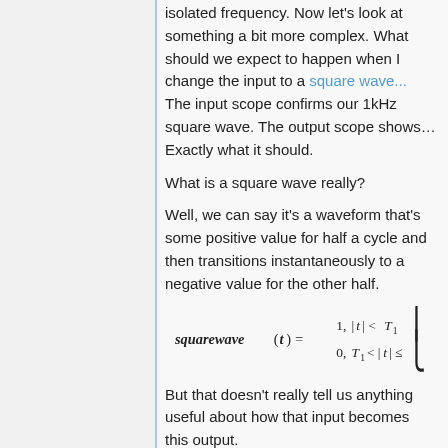isolated frequency. Now let's look at something a bit more complex. What should we expect to happen when I change the input to a square wave... The input scope confirms our 1kHz square wave. The output scope shows… Exactly what it should.
What is a square wave really?
Well, we can say it's a waveform that's some positive value for half a cycle and then transitions instantaneously to a negative value for the other half.
But that doesn't really tell us anything useful about how that input becomes this output.
Then we remember that any waveform is also the sum of discrete frequencies...